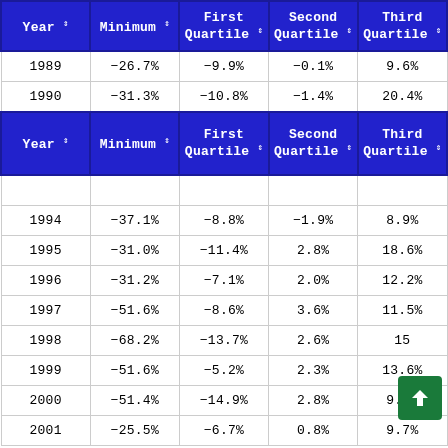| Year | Minimum | First Quartile | Second Quartile | Third Quartile |
| --- | --- | --- | --- | --- |
| 1989 | -26.7% | -9.9% | -0.1% | 9.6% |
| 1990 | -31.3% | -10.8% | -1.4% | 20.4% |
| Year | Minimum | First Quartile | Second Quartile | Third Quartile |
|  |  |  |  |  |
| 1994 | -37.1% | -8.8% | -1.9% | 8.9% |
| 1995 | -31.0% | -11.4% | 2.8% | 18.6% |
| 1996 | -31.2% | -7.1% | 2.0% | 12.2% |
| 1997 | -51.6% | -8.6% | 3.6% | 11.5% |
| 1998 | -68.2% | -13.7% | 2.6% | 15… |
| 1999 | -51.6% | -5.2% | 2.3% | 13.6% |
| 2000 | -51.4% | -14.9% | 2.8% | 9.1% |
| 2001 | -25.5% | -6.7% | 0.8% | 9.7% |